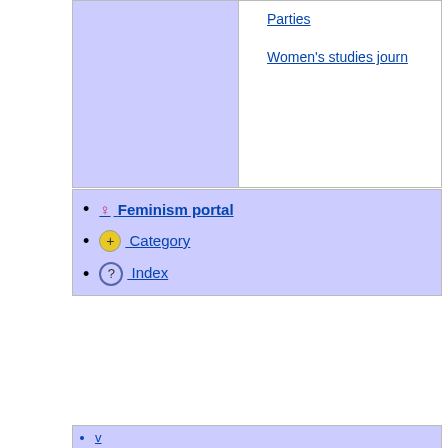Parties
Women's studies journ
♀ Feminism portal
⊕ Category
? Index
v
t
e (https://en.wikipedia.org/w/index.php?title=Template:South_Af
South Africa articles
Timeline [nl]
Years
Early history
Kingdom of Mapungubwe
Kingdom of Mutapa